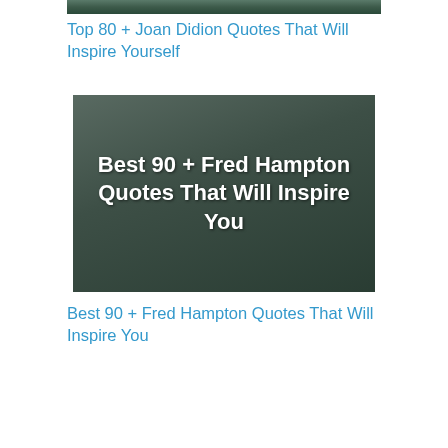[Figure (photo): Partial top of an image, cropped — dark greenish photograph]
Top 80 + Joan Didion Quotes That Will Inspire Yourself
[Figure (photo): Black and white photograph of Fred Hampton speaking at a rally, with overlaid white bold text reading 'Best 90 + Fred Hampton Quotes That Will Inspire You']
Best 90 + Fred Hampton Quotes That Will Inspire You